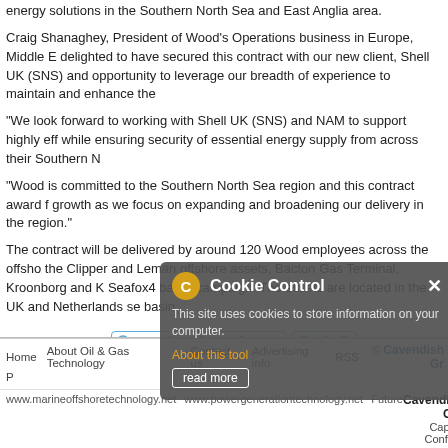energy solutions in the Southern North Sea and East Anglia area.
Craig Shanaghey, President of Wood's Operations business in Europe, Middle E delighted to have secured this contract with our new client, Shell UK (SNS) and opportunity to leverage our breadth of experience to maintain and enhance the
“We look forward to working with Shell UK (SNS) and NAM to support highly eff while ensuring security of essential energy supply from across their Southern N
“Wood is committed to the Southern North Sea region and this contract award f growth as we focus on expanding and broadening our delivery in the region.”
The contract will be delivered by around 120 Wood employees across the offsho the Clipper and Leman offshore assets, Bacton Gas Terminal, Kroonborg and K Seafox4 barge campaign. The assets are located in the UK and Netherlands se basin.
Related topics: Wood  North Sea  Shell
Home  About Oil & Gas Technology  Contact us  Advertising info  RSS  © Cavendish Gr  Cavendish Gre  www.marineoffshoretechnology.net  www.powergenerationtechnology.net  Future Capital Confere
[Figure (screenshot): Cookie Control dialog box overlay with dark semi-transparent background, showing a sunflower/gear icon labeled C, title 'Cookie Control', close X button, body text 'This site uses cookies to store information on your computer.', an 'About this tool' orange link, and a 'read more' button.]